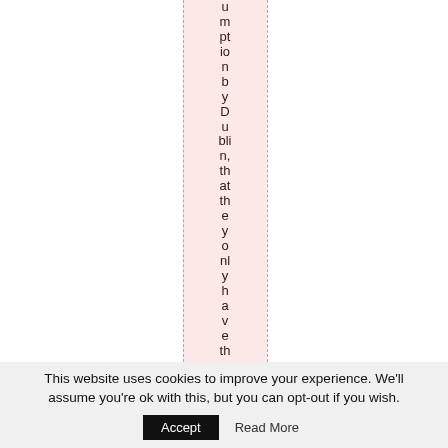umption by Dublin, that the they only have th
This website uses cookies to improve your experience. We'll assume you're ok with this, but you can opt-out if you wish. Accept Read More